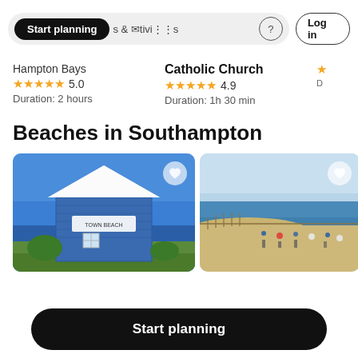Start planning  & Activities  ?  Log in
Hampton Bays
★★★★★ 5.0
Duration: 2 hours
Catholic Church
★★★★★ 4.9
Duration: 1h 30 min
Beaches in Southampton
[Figure (photo): Blue beach house building against blue sky near water]
[Figure (photo): Crowded beach with people, sand dunes, umbrellas, and ocean]
Start planning